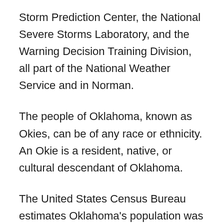Storm Prediction Center, the National Severe Storms Laboratory, and the Warning Decision Training Division, all part of the National Weather Service and in Norman.
The people of Oklahoma, known as Okies, can be of any race or ethnicity. An Okie is a resident, native, or cultural descendant of Oklahoma.
The United States Census Bureau estimates Oklahoma's population was 3,963,516 during the 2020 United States Census, a 5.66% increase since the 2010 United States Census.